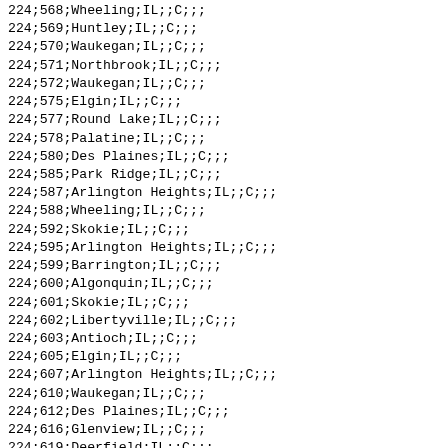224;568;Wheeling;IL;;C;;;
224;569;Huntley;IL;;C;;;
224;570;Waukegan;IL;;C;;;
224;571;Northbrook;IL;;C;;;
224;572;Waukegan;IL;;C;;;
224;575;Elgin;IL;;C;;;
224;577;Round Lake;IL;;C;;;
224;578;Palatine;IL;;C;;;
224;580;Des Plaines;IL;;C;;;
224;585;Park Ridge;IL;;C;;;
224;587;Arlington Heights;IL;;C;;;
224;588;Wheeling;IL;;C;;;
224;592;Skokie;IL;;C;;;
224;595;Arlington Heights;IL;;C;;;
224;599;Barrington;IL;;C;;;
224;600;Algonquin;IL;;C;;;
224;601;Skokie;IL;;C;;;
224;602;Libertyville;IL;;C;;;
224;603;Antioch;IL;;C;;;
224;605;Elgin;IL;;C;;;
224;607;Arlington Heights;IL;;C;;;
224;610;Waukegan;IL;;C;;;
224;612;Des Plaines;IL;;C;;;
224;616;Glenview;IL;;C;;;
224;619;Deerfield;IL;;C;;;
224;622;Barrington;IL;;C;;;
224;623;Algonquin;IL;;C;;;
224;625;Arlington Heights;IL;;C;;;
224;627;Waukegan;IL;;C;;;
224;628;Northbrook;IL;;C;;;